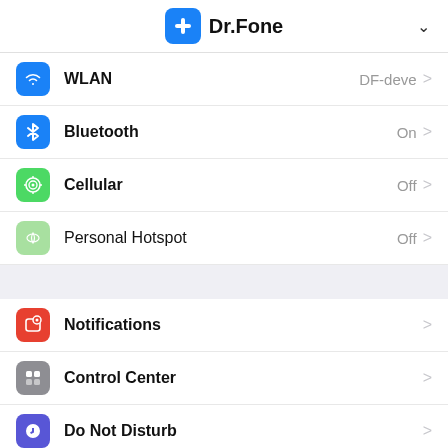[Figure (screenshot): Dr.Fone app header with blue plus icon and dropdown chevron]
WLAN   DF-deve  >
Bluetooth   On  >
Cellular   Off  >
Personal Hotspot   Off  >
Notifications  >
Control Center  >
Do Not Disturb  >
General  1  >
Display & Brightness  >